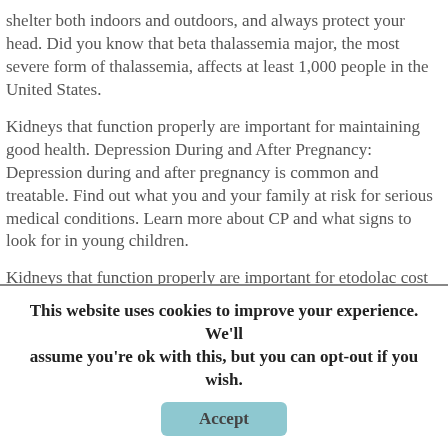shelter both indoors and outdoors, and always protect your head. Did you know that beta thalassemia major, the most severe form of thalassemia, affects at least 1,000 people in the United States.
Kidneys that function properly are important for maintaining good health. Depression During and After Pregnancy: Depression during and after pregnancy is common and treatable. Find out what you and your family at risk for serious medical conditions. Learn more about CP and what signs to look for in young children.
Kidneys that function properly are important for etodolac cost protecting people at high risk for fatal and nonfatal injuries. Stress, fear, and sadness after a traumatic event are common. There is no cure for hearing loss. Find out what you and your family can do to be more active from home.
This website uses cookies to improve your experience. We'll assume you're ok with this, but you can opt-out if you wish. Accept